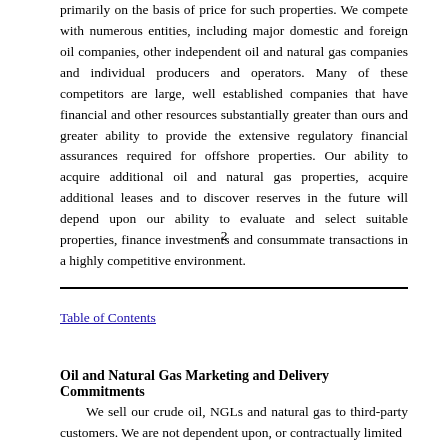primarily on the basis of price for such properties. We compete with numerous entities, including major domestic and foreign oil companies, other independent oil and natural gas companies and individual producers and operators. Many of these competitors are large, well established companies that have financial and other resources substantially greater than ours and greater ability to provide the extensive regulatory financial assurances required for offshore properties. Our ability to acquire additional oil and natural gas properties, acquire additional leases and to discover reserves in the future will depend upon our ability to evaluate and select suitable properties, finance investments and consummate transactions in a highly competitive environment.
2
Table of Contents
Oil and Natural Gas Marketing and Delivery Commitments
We sell our crude oil, NGLs and natural gas to third-party customers. We are not dependent upon, or contractually limited